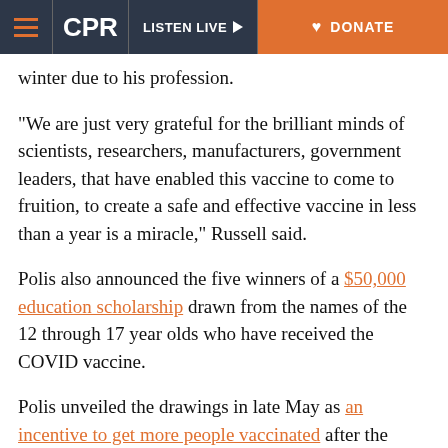CPR | LISTEN LIVE | DONATE
winter due to his profession.
“We are just very grateful for the brilliant minds of scientists, researchers, manufacturers, government leaders, that have enabled this vaccine to come to fruition, to create a safe and effective vaccine in less than a year is a miracle,” Russell said.
Polis also announced the five winners of a $50,000 education scholarship drawn from the names of the 12 through 17 year olds who have received the COVID vaccine.
Polis unveiled the drawings in late May as an incentive to get more people vaccinated after the